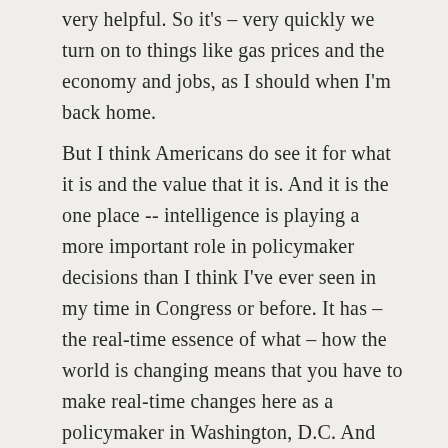very helpful. So it's – very quickly we turn on to things like gas prices and the economy and jobs, as I should when I'm back home.
But I think Americans do see it for what it is and the value that it is. And it is the one place -- intelligence is playing a more important role in policymaker decisions than I think I've ever seen in my time in Congress or before. It has – the real-time essence of what – how the world is changing means that you have to make real-time changes here as a policymaker in Washington, D.C. And without good, accurate, well-analyzed intelligence, it makes our job that much more difficult, and it makes it likely you're going to make a mistake. So it is absolutely